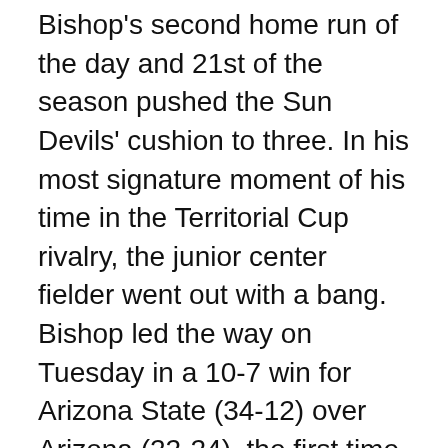Bishop's second home run of the day and 21st of the season pushed the Sun Devils' cushion to three. In his most signature moment of his time in the Territorial Cup rivalry, the junior center fielder went out with a bang. Bishop led the way on Tuesday in a 10-7 win for Arizona State (34-12) over Arizona (22-24), the first time the Sun Devils have swept the season series since 2009.
“When he slows the game down, he’s a different player,” said ASU head coach Tracy Smith on Bishop. “When he’s doing what is he doing — it makes us different offensively.”
In somewhat of a redemption game for Bishop, he left his mark in what is most likely his last game ever against the Wildcats. The last time Bishop touched the